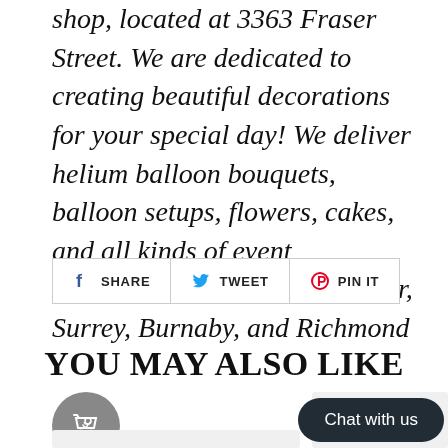shop, located at 3363 Fraser Street. We are dedicated to creating beautiful decorations for your special day! We deliver helium balloon bouquets, balloon setups, flowers, cakes, and all kinds of event decorations to Local Vancouver, Surrey, Burnaby, and Richmond
[Figure (other): Social sharing buttons: Facebook SHARE, Twitter TWEET, Pinterest PIN IT]
YOU MAY ALSO LIKE
[Figure (other): Shopping cart circle icon button (gray) and Chat with us dark rounded button]